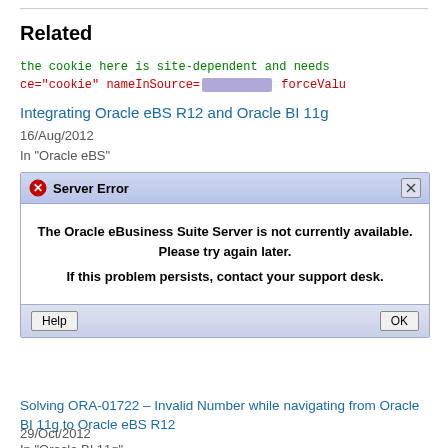Related
[Figure (screenshot): Code snippet showing cookie configuration with site-dependent text and a blurred nameInSource value, followed by forceValu attribute]
Integrating Oracle eBS R12 and Oracle BI 11g
16/Aug/2012
In "Oracle eBS"
[Figure (screenshot): Server Error dialog box showing: The Oracle eBusiness Suite Server is not currently available. Please try again later. If this problem persists, contact your support desk. With Help and OK buttons.]
Solving ORA-01722 – Invalid Number while navigating from Oracle BI 11g to Oracle eBS R12
29/Oct/2012
In "Oracle BI 11g"